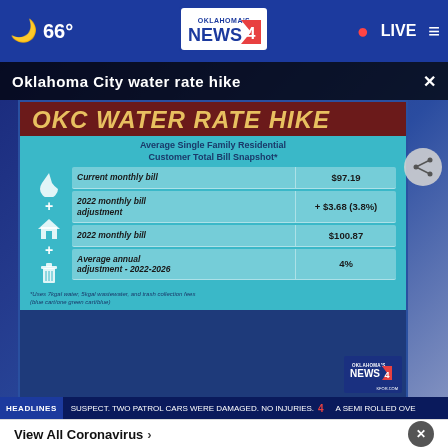66° Oklahoma's News 4 • LIVE
Oklahoma City water rate hike
[Figure (infographic): OKC Water Rate Hike infographic showing Average Single Family Residential Customer Total Bill Snapshot with table: Current monthly bill $97.19, 2022 monthly bill adjustment +$3.68 (3.8%), 2022 monthly bill $100.87, Average annual adjustment 2022-2026 4%]
HEADLINES • SUSPECT. TWO PATROL CARS WERE DAMAGED. NO INJURIES. • A SEMI ROLLED OVE
View All Coronavirus ›